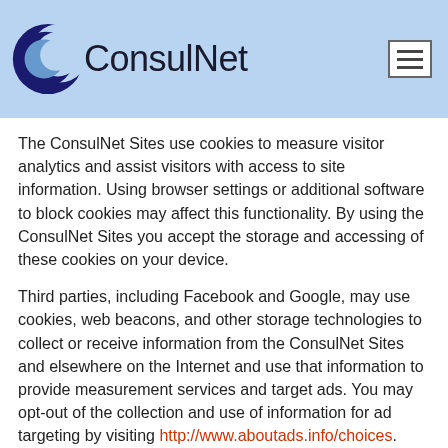[Figure (logo): ConsulNet logo with crescent moon shape in dark navy and light blue, followed by the text 'ConsulNet' in dark color, and a hamburger menu icon on the right side on a light blue background.]
The ConsulNet Sites use cookies to measure visitor analytics and assist visitors with access to site information. Using browser settings or additional software to block cookies may affect this functionality. By using the ConsulNet Sites you accept the storage and accessing of these cookies on your device.
Third parties, including Facebook and Google, may use cookies, web beacons, and other storage technologies to collect or receive information from the ConsulNet Sites and elsewhere on the Internet and use that information to provide measurement services and target ads. You may opt-out of the collection and use of information for ad targeting by visiting http://www.aboutads.info/choices.